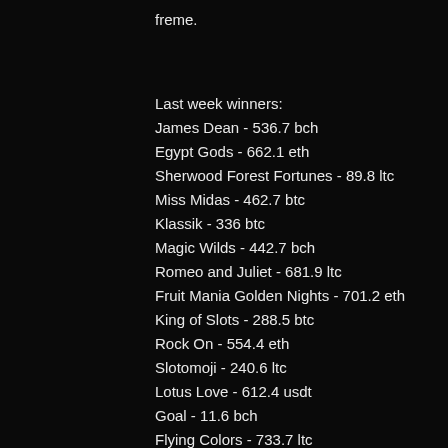freme.
Last week winners:
James Dean - 536.7 bch
Egypt Gods - 662.1 eth
Sherwood Forest Fortunes - 89.8 ltc
Miss Midas - 462.7 btc
Klassik - 336 btc
Magic Wilds - 442.7 bch
Romeo and Juliet - 681.9 ltc
Fruit Mania Golden Nights - 701.2 eth
King of Slots - 288.5 btc
Rock On - 554.4 eth
Slotomoji - 240.6 ltc
Lotus Love - 612.4 usdt
Goal - 11.6 bch
Flying Colors - 733.7 ltc
Golden New World - 287.7 usdt
Play Bitcoin slots:
BitcoinCasino vs Golden Gorilla